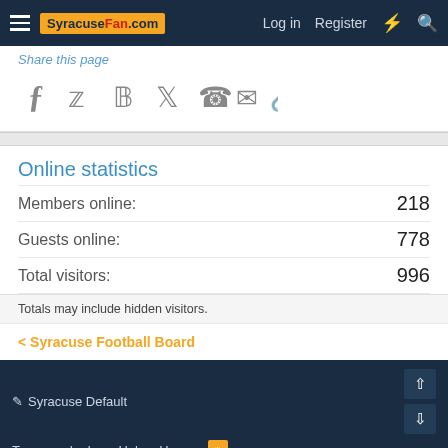SyracuseFan.com | Log in | Register
Share this page
[Figure (other): Social sharing icons: Facebook, Twitter, Pinterest, Tumblr, WhatsApp, Email, Link]
Online statistics
| Stat | Value |
| --- | --- |
| Members online: | 218 |
| Guests online: | 778 |
| Total visitors: | 996 |
Totals may include hidden visitors.
< Syracuse Football Board
✏ Syracuse Default | Terms and rules | Help | Home | RSS | Community platform by XenForo® © 2010-2021 XenForo Ltd. | Add-ons by ThemeHouse | Media embeds via s9e/MediaSites